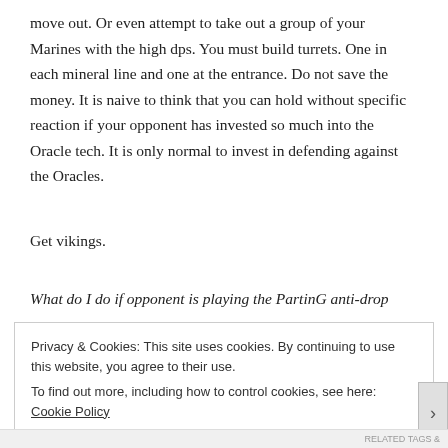move out. Or even attempt to take out a group of your Marines with the high dps. You must build turrets. One in each mineral line and one at the entrance. Do not save the money. It is naive to think that you can hold without specific reaction if your opponent has invested so much into the Oracle tech. It is only normal to invest in defending against the Oracles.
Get vikings.
What do I do if opponent is playing the PartinG anti-drop
Privacy & Cookies: This site uses cookies. By continuing to use this website, you agree to their use.
To find out more, including how to control cookies, see here: Cookie Policy
Close and accept